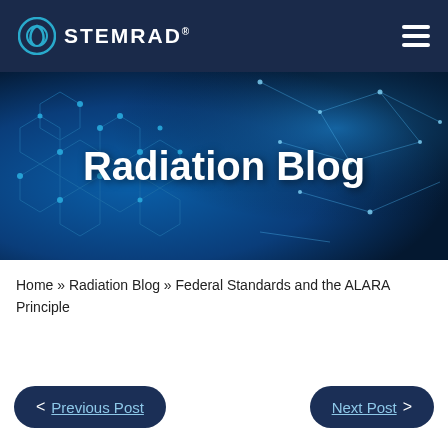STEMRAD
[Figure (illustration): Radiation Blog banner image with blue molecular/network background and white bold text 'Radiation Blog']
Home » Radiation Blog » Federal Standards and the ALARA Principle
< Previous Post
Next Post >